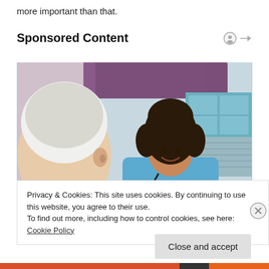more important than that.
Sponsored Content
[Figure (photo): A smiling female nurse in blue scrubs with a stethoscope talking to an elderly male patient. A purple curtain and window are visible in the background.]
Privacy & Cookies: This site uses cookies. By continuing to use this website, you agree to their use.
To find out more, including how to control cookies, see here: Cookie Policy